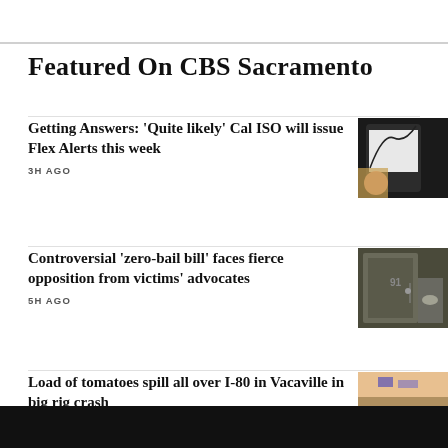Featured On CBS Sacramento
Getting Answers: 'Quite likely' Cal ISO will issue Flex Alerts this week
3H AGO
[Figure (photo): Hand holding a smartphone displaying a graph curve]
Controversial 'zero-bail bill' faces fierce opposition from victims' advocates
5H AGO
[Figure (photo): Hand reaching toward a door with number 91]
Load of tomatoes spill all over I-80 in Vacaville in big rig crash
9H AGO
[Figure (photo): Aerial view of tomatoes spilled on highway at dusk]